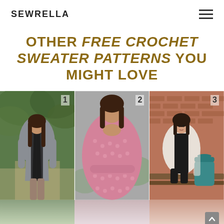SEWRELLA
OTHER FREE CROCHET SWEATER PATTERNS YOU MIGHT LOVE
[Figure (photo): Three numbered photos of women wearing crochet cardigan sweaters: (1) woman in grey cardigan outdoors in green setting, (2) woman in pink open-weave crochet sweater with arms crossed, (3) woman in white/floral cardigan seated on bench near brick wall with teal bag]
[Figure (screenshot): Partially visible bottom strip of the same three photos fading out with a scroll-to-top button in lower right]